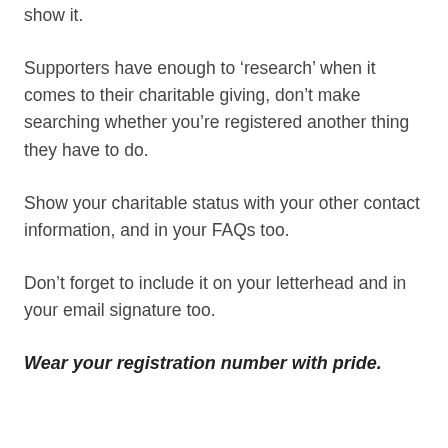show it.
Supporters have enough to ‘research’ when it comes to their charitable giving, don’t make searching whether you’re registered another thing they have to do.
Show your charitable status with your other contact information, and in your FAQs too.
Don’t forget to include it on your letterhead and in your email signature too.
Wear your registration number with pride.